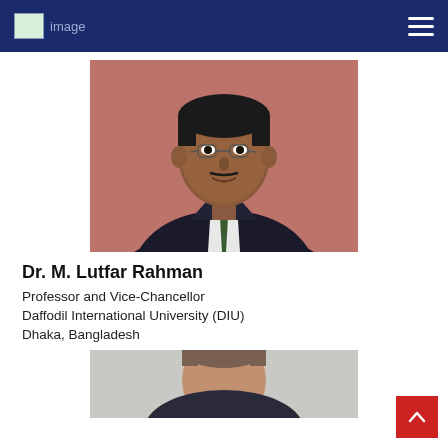image [navigation menu]
[Figure (photo): Headshot of Dr. M. Lutfar Rahman, a man wearing a dark suit with a green tie, photographed against a pink/red background]
Dr. M. Lutfar Rahman
Professor and Vice-Chancellor
Daffodil International University (DIU)
Dhaka, Bangladesh
[Figure (photo): Partial headshot of another person, cropped at bottom of page]